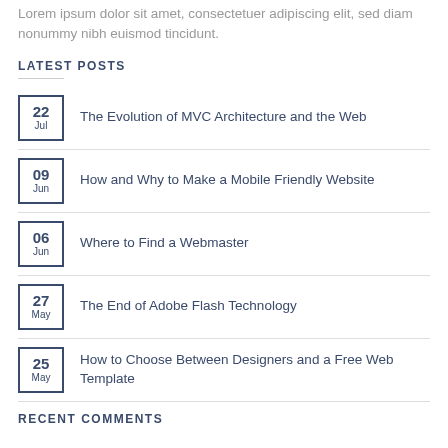Lorem ipsum dolor sit amet, consectetuer adipiscing elit, sed diam nonummy nibh euismod tincidunt.
LATEST POSTS
22 Jul — The Evolution of MVC Architecture and the Web
09 Jun — How and Why to Make a Mobile Friendly Website
06 Jun — Where to Find a Webmaster
27 May — The End of Adobe Flash Technology
25 May — How to Choose Between Designers and a Free Web Template
RECENT COMMENTS